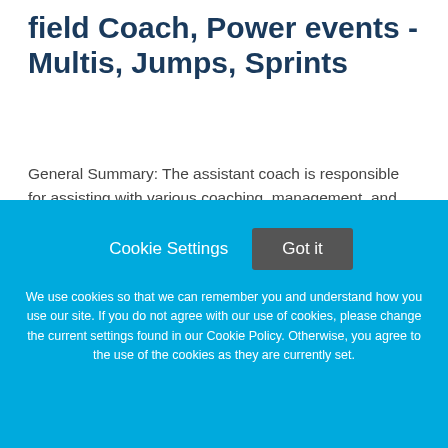Assistant Men's and Women's Track and field Coach, Power events - Multis, Jumps, Sprints
General Summary: The assistant coach is responsible for assisting with various coaching, management, and administrative duties of the Men's & Women's Track & Field program as assigned by the Head Coach. The
This job listing is no longer active.
[Figure (screenshot): Cookie consent overlay in blue with Cookie Settings and Got it buttons, followed by cookie policy text]